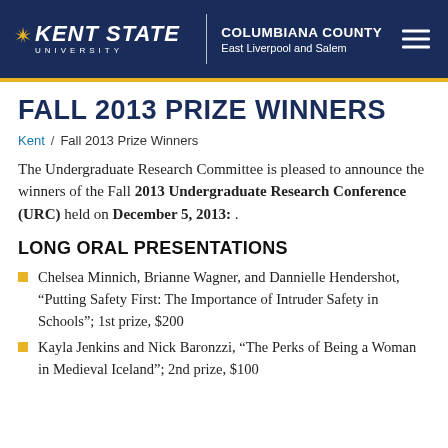KENT STATE UNIVERSITY — COLUMBIANA COUNTY, East Liverpool and Salem
FALL 2013 PRIZE WINNERS
Kent / Fall 2013 Prize Winners
The Undergraduate Research Committee is pleased to announce the winners of the Fall 2013 Undergraduate Research Conference (URC) held on December 5, 2013: .
LONG ORAL PRESENTATIONS
Chelsea Minnich, Brianne Wagner, and Dannielle Hendershot, “Putting Safety First: The Importance of Intruder Safety in Schools”; 1st prize, $200
Kayla Jenkins and Nick Baronzzi, “The Perks of Being a Woman in Medieval Iceland”; 2nd prize, $100